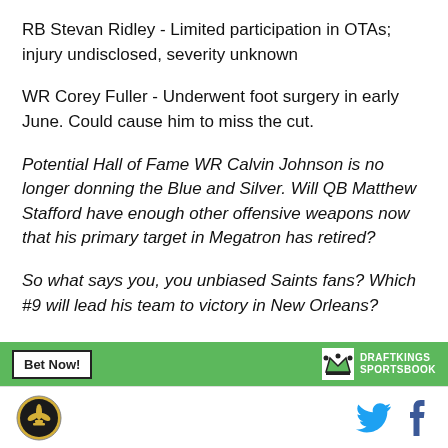RB Stevan Ridley - Limited participation in OTAs; injury undisclosed, severity unknown
WR Corey Fuller - Underwent foot surgery in early June. Could cause him to miss the cut.
Potential Hall of Fame WR Calvin Johnson is no longer donning the Blue and Silver. Will QB Matthew Stafford have enough other offensive weapons now that his primary target in Megatron has retired?
So what says you, you unbiased Saints fans? Which #9 will lead his team to victory in New Orleans?
[Figure (logo): DraftKings Sportsbook banner with Bet Now! button and crown logo]
[Figure (logo): Footer with Saints fleur-de-lis circular logo, Twitter bird icon, and Facebook f icon]